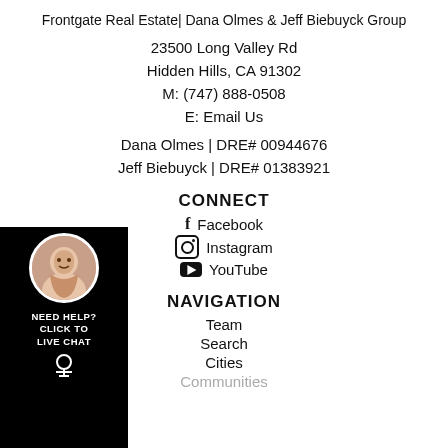Frontgate Real Estate| Dana Olmes & Jeff Biebuyck Group
23500 Long Valley Rd
Hidden Hills, CA 91302
M: (747) 888-0508
E: Email Us
Dana Olmes | DRE# 00944676
Jeff Biebuyck | DRE# 01383921
CONNECT
Facebook
Instagram
YouTube
NAVIGATION
Team
Search
Cities
[Figure (photo): Live chat widget with agent photo, black background, showing NEED HELP? CLICK TO LIVE CHAT text and accessibility icon]